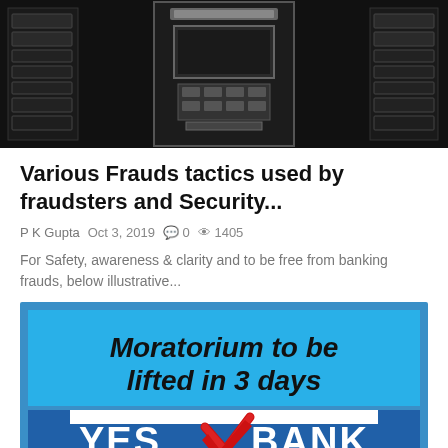[Figure (photo): Black and white photo of ATM machines]
Various Frauds tactics used by fraudsters and Security...
P K Gupta  Oct 3, 2019  0  1405
For Safety, awareness & clarity and to be free from banking frauds, below illustrative...
[Figure (photo): Yes Bank advertisement image with text 'Moratorium to be lifted in 3 days' above the Yes Bank logo on a blue background]